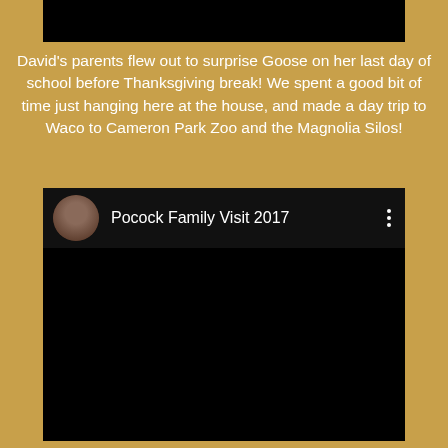[Figure (photo): Cropped bottom portion of a photo, mostly black]
David's parents flew out to surprise Goose on her last day of school before Thanksgiving break! We spent a good bit of time just hanging here at the house, and made a day trip to Waco to Cameron Park Zoo and the Magnolia Silos!
[Figure (screenshot): Embedded video player with dark background. Header shows a circular family photo thumbnail and title 'Pocock Family Visit 2017' with a three-dot menu icon. Video area is black.]